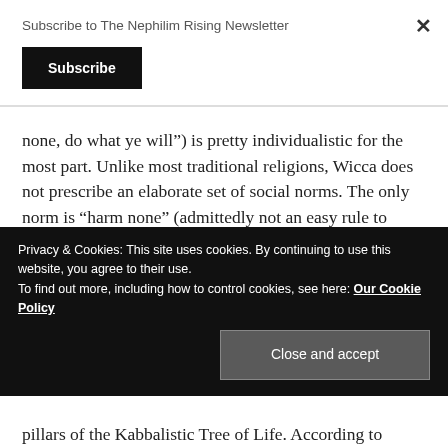Subscribe to The Nephilim Rising Newsletter
Subscribe
none, do what ye will”) is pretty individualistic for the most part. Unlike most traditional religions, Wicca does not prescribe an elaborate set of social norms. The only norm is “harm none” (admittedly not an easy rule to follow, if you really think about it).
Privacy & Cookies: This site uses cookies. By continuing to use this website, you agree to their use.
To find out more, including how to control cookies, see here: Our Cookie Policy
Close and accept
pillars of the Kabbalistic Tree of Life. According to